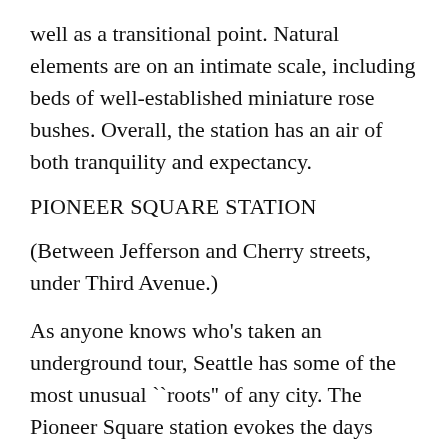well as a transitional point. Natural elements are on an intimate scale, including beds of well-established miniature rose bushes. Overall, the station has an air of both tranquility and expectancy.
PIONEER SQUARE STATION
(Between Jefferson and Cherry streets, under Third Avenue.)
As anyone knows who's taken an underground tour, Seattle has some of the most unusual ``roots'' of any city. The Pioneer Square station evokes the days when merchants beside the mud flats of Elliott Bay decided to rise above the tides by constructing buildings with dual ``ground floors,'' eventually raising street surfaces to the second level. From